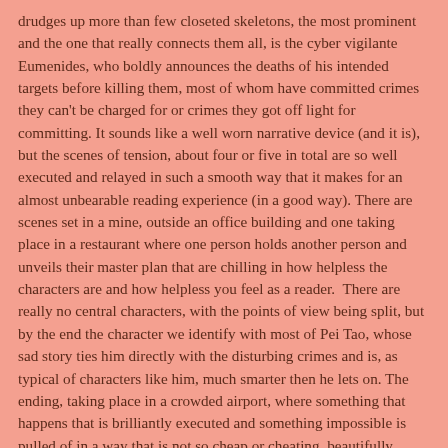drudges up more than few closeted skeletons, the most prominent and the one that really connects them all, is the cyber vigilante Eumenides, who boldly announces the deaths of his intended targets before killing them, most of whom have committed crimes they can't be charged for or crimes they got off light for committing. It sounds like a well worn narrative device (and it is), but the scenes of tension, about four or five in total are so well executed and relayed in such a smooth way that it makes for an almost unbearable reading experience (in a good way). There are scenes set in a mine, outside an office building and one taking place in a restaurant where one person holds another person and unveils their master plan that are chilling in how helpless the characters are and how helpless you feel as a reader.  There are really no central characters, with the points of view being split, but by the end the character we identify with most of Pei Tao, whose sad story ties him directly with the disturbing crimes and is, as typical of characters like him, much smarter then he lets on. The ending, taking place in a crowded airport, where something that happens that is brilliantly executed and something impossible is pulled of in a way that is not so cheap or cheating, beautifully wraps up this intense 300 page book and has me begging for its sequel to come out sooner rather than later. This is the perfect kind